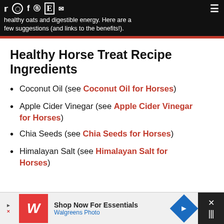healthy oats and digestible energy. Here are a few suggestions (and links to the benefits!).
Healthy Horse Treat Recipe Ingredients
Coconut Oil (see Coconut Oil for Horses)
Apple Cider Vinegar (see Apple Cider Vinegar for Horses)
Chia Seeds (see Chia Seeds for Horses)
Himalayan Salt (see Himalayan Salt for Horses)
[Figure (screenshot): Advertisement bar: Walgreens Photo - Shop Now For Essentials, with navigation arrow icon and close button]